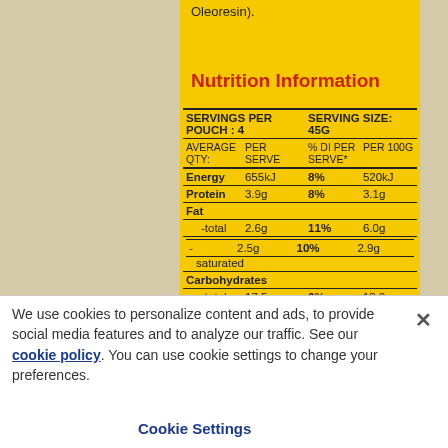Oleoresin).
Nutrition Information
| AVERAGE QTY: | PER SERVE | % DI PER SERVE* | PER 100G |
| --- | --- | --- | --- |
| SERVINGS PER POUCH : 4 |  | SERVING SIZE: 45G |  |
| Energy | 655kJ | 8% | 520kJ |
| Protein | 3.9g | 8% | 3.1g |
| Fat |  |  |  |
| -total | 2.6g | 11% | 6.0g |
| - saturated | 2.5g | 10% | 2.9g |
| Carbohydrates |  |  |  |
| -total | 17.5g | 6% | 13.9g |
| -sugars | 11.6g | 13% | 9.2g |
| Sodium | 518mg | 23% | 411mg |
We use cookies to personalize content and ads, to provide social media features and to analyze our traffic. See our cookie policy. You can use cookie settings to change your preferences.
Cookie Settings